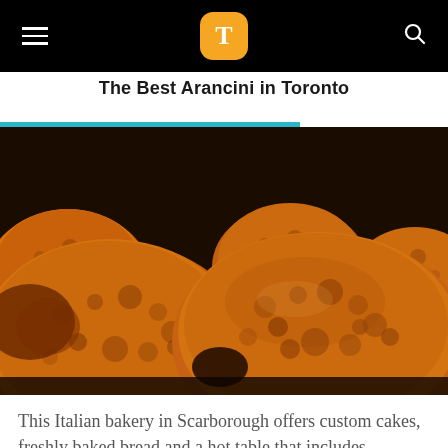T [logo] ☰ [menu] 🔍 [search]
The Best Arancini in Toronto
[Figure (photo): Close-up photograph of multiple golden-brown fried arancini (Italian rice balls) with crispy breaded coating, arranged on a dark surface.]
This Italian bakery in Scarborough offers custom cakes, freshly baked bread and a hot table that includes delectable items like the porchetta and their arancini stuffed with enough cheese to warrant multiple trips